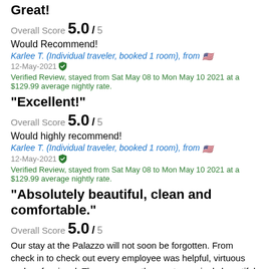Great!
Overall Score 5.0 / 5
Would Recommend!
Karlee T. (Individual traveler, booked 1 room), from 🇺🇸
12-May-2021 Verified Review, stayed from Sat May 08 to Mon May 10 2021 at a $129.99 average nightly rate.
"Excellent!"
Overall Score 5.0 / 5
Would highly recommend!
Karlee T. (Individual traveler, booked 1 room), from 🇺🇸
12-May-2021 Verified Review, stayed from Sat May 08 to Mon May 10 2021 at a $129.99 average nightly rate.
"Absolutely beautiful, clean and comfortable."
Overall Score 5.0 / 5
Our stay at the Palazzo will not soon be forgotten. From check in to check out every employee was helpful, virtuous and professional. The room was the most amazingly beautiful, tastefully decorated, comfortable, huge room I've